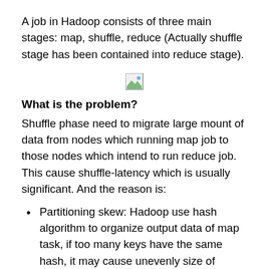A job in Hadoop consists of three main stages: map, shuffle, reduce (Actually shuffle stage has been contained into reduce stage).
[Figure (other): Broken/missing image placeholder icon]
What is the problem?
Shuffle phase need to migrate large mount of data from nodes which running map job to those nodes which intend to run reduce job. This cause shuffle-latency which is usually significant. And the reason is:
Partitioning skew: Hadoop use hash algorithm to organize output data of map task, if too many keys have the same hash, it may cause unevenly size of partitions
Overlapping of shuffle phase and reduce phase, shuffle result...